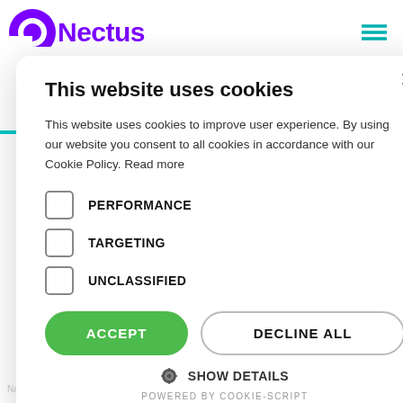[Figure (logo): Nectus logo with purple arc icon and bold purple text]
This website uses cookies
This website uses cookies to improve user experience. By using our website you consent to all cookies in accordance with our Cookie Policy. Read more
PERFORMANCE
TARGETING
UNCLASSIFIED
ACCEPT   DECLINE ALL
⚙ SHOW DETAILS
POWERED BY COOKIE-SCRIPT